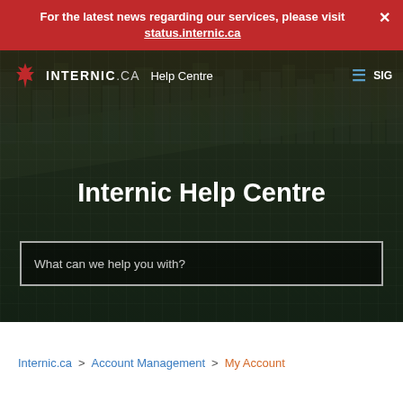For the latest news regarding our services, please visit status.internic.ca
[Figure (screenshot): Internic.ca Help Centre website navigation bar with maple leaf logo, brand name INTERNIC.CA, Help Centre label, hamburger menu icon, and SIG text on right]
Internic Help Centre
What can we help you with?
Internic.ca > Account Management > My Account